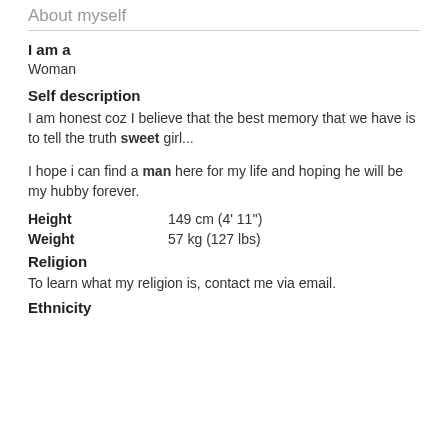About myself
I am a
Woman
Self description
I am honest coz I believe that the best memory that we have is to tell the truth sweet girl...
I hope i can find a man here for my life and hoping he will be my hubby forever.
Height    149 cm (4' 11'')
Weight    57 kg (127 lbs)
Religion
To learn what my religion is, contact me via email.
Ethnicity